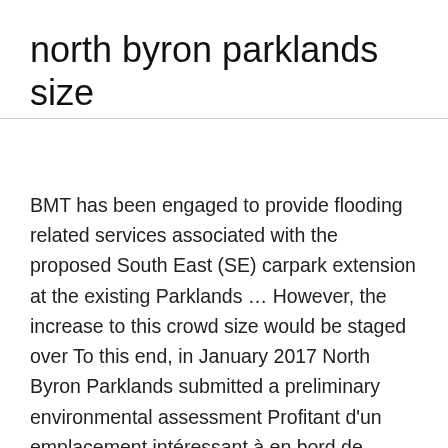north byron parklands size
BMT has been engaged to provide flooding related services associated with the proposed South East (SE) carpark extension at the existing Parklands … However, the increase to this crowd size would be staged over To this end, in January 2017 North Byron Parklands submitted a preliminary environmental assessment Profitant d'un emplacement intéressant à en bord de rivière, cette villa romantique se situe à moins de 10 km de Inner Pocket Nature Reserve, Marshalls Creek Nature Reserve et Jinangong Nature Reserve. Falls and Splendour in the Grass festivals will have a permanent home and an increase in size